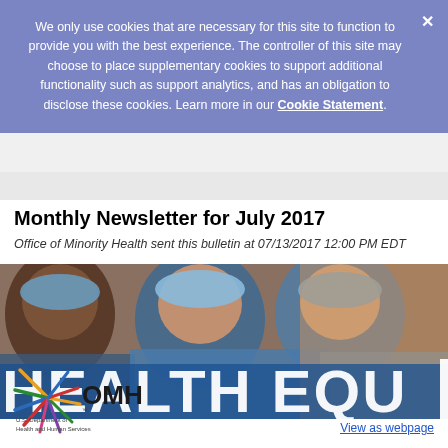We only use cookies that are necessary for this site to function to provide you with the best experience. The controller of this site may choose to place supplementary cookies to support additional functionality such as support analytics, and has an obligation to disclose these cookies. Learn more in our Cookie Statement.
Monthly Newsletter for July 2017
Office of Minority Health sent this bulletin at 07/13/2017 12:00 PM EDT
[Figure (photo): Three smiling healthcare workers in blue surgical scrubs and caps, with large white text overlay reading 'HEALTH EQUI' (partially visible, cut off)]
View as webpage
[Figure (logo): OMH logo - Office of Minority Health, U.S. Department of Health and Human Services, with colorful starburst design]